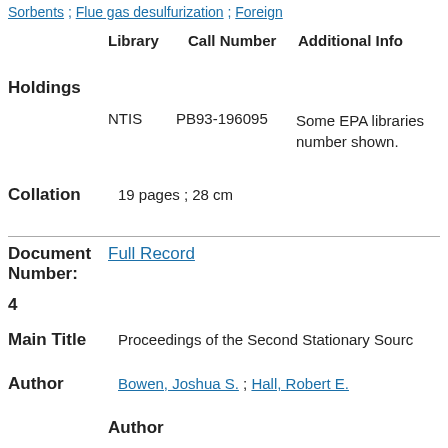Sorbents ; Flue gas desulfurization ; Foreign
| Library | Call Number | Additional Info |
| --- | --- | --- |
| NTIS | PB93-196095 | Some EPA libraries number shown. |
Holdings
Collation  19 pages ; 28 cm
Document
Number:
4
Full Record
Main Title  Proceedings of the Second Stationary Source
Author  Bowen, Joshua S. ; Hall, Robert E.
Author